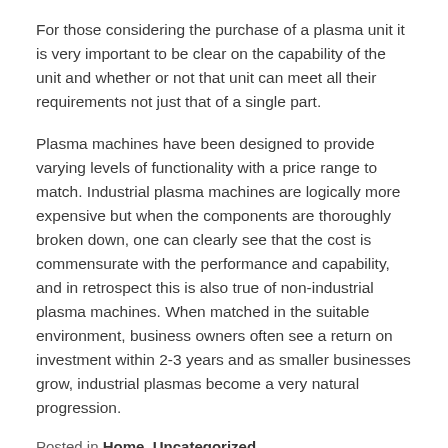For those considering the purchase of a plasma unit it is very important to be clear on the capability of the unit and whether or not that unit can meet all their requirements not just that of a single part.
Plasma machines have been designed to provide varying levels of functionality with a price range to match. Industrial plasma machines are logically more expensive but when the components are thoroughly broken down, one can clearly see that the cost is commensurate with the performance and capability, and in retrospect this is also true of non-industrial plasma machines. When matched in the suitable environment, business owners often see a return on investment within 2-3 years and as smaller businesses grow, industrial plasmas become a very natural progression.
Posted in Home, Uncategorized